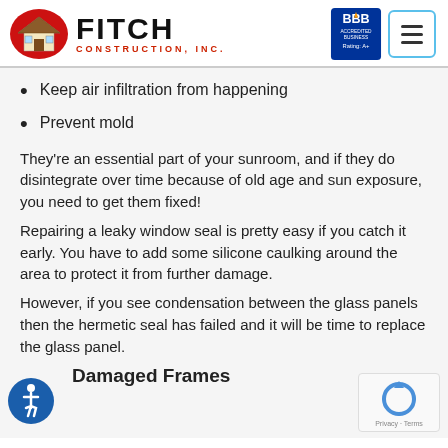Fitch Construction, Inc. — BBB Accredited Business Rating: A+
Keep air infiltration from happening
Prevent mold
They're an essential part of your sunroom, and if they do disintegrate over time because of old age and sun exposure, you need to get them fixed!
Repairing a leaky window seal is pretty easy if you catch it early. You have to add some silicone caulking around the area to protect it from further damage.
However, if you see condensation between the glass panels then the hermetic seal has failed and it will be time to replace the glass panel.
Damaged Frames